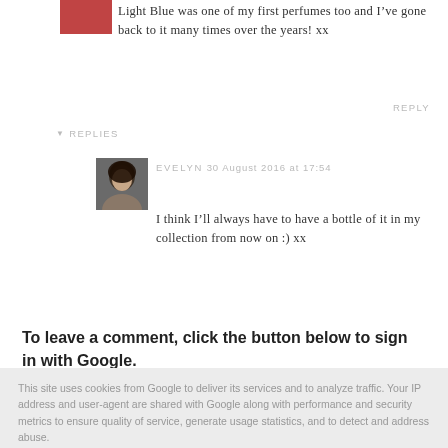[Figure (photo): Small avatar image in top-left corner, red/pink toned photo]
Light Blue was one of my first perfumes too and I've gone back to it many times over the years! xx
REPLY
▾ REPLIES
[Figure (photo): Small square avatar photo of a young woman with dark hair]
EVELYN 30 August 2016 at 17:54
I think I'll always have to have a bottle of it in my collection from now on :) xx
To leave a comment, click the button below to sign in with Google.
This site uses cookies from Google to deliver its services and to analyze traffic. Your IP address and user-agent are shared with Google along with performance and security metrics to ensure quality of service, generate usage statistics, and to detect and address abuse.
LEARN MORE
OK